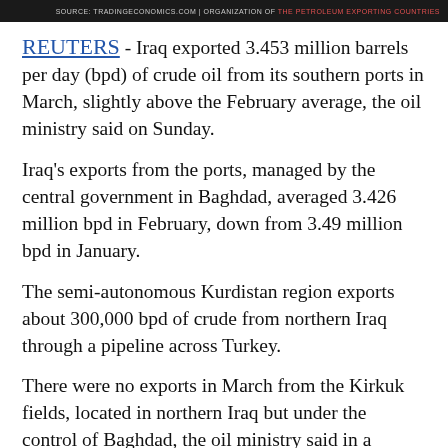SOURCE: TRADINGECONOMICS.COM | ORGANIZATION OF THE PETROLEUM EXPORTING COUNTRIES
REUTERS - Iraq exported 3.453 million barrels per day (bpd) of crude oil from its southern ports in March, slightly above the February average, the oil ministry said on Sunday.
Iraq's exports from the ports, managed by the central government in Baghdad, averaged 3.426 million bpd in February, down from 3.49 million bpd in January.
The semi-autonomous Kurdistan region exports about 300,000 bpd of crude from northern Iraq through a pipeline across Turkey.
There were no exports in March from the Kirkuk fields, located in northern Iraq but under the control of Baghdad, the oil ministry said in a statement.
Kirkuk oil exports stopped in October, when Iraqi government troops backed by Shi'ite paramilitary forces dislodged Kurdish fighters from the region…